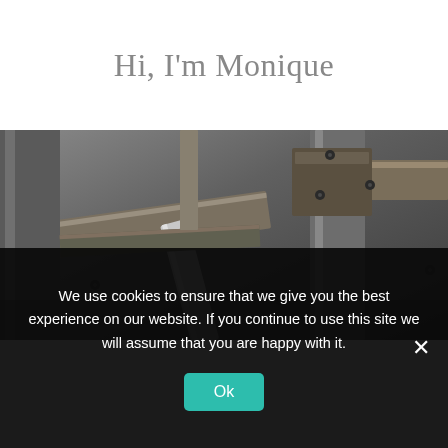Hi, I'm Monique
[Figure (photo): Black and white close-up photograph of wooden scaffold or ladder frame structures with metal bolts and joints, viewed from below at an angle.]
We use cookies to ensure that we give you the best experience on our website. If you continue to use this site we will assume that you are happy with it.